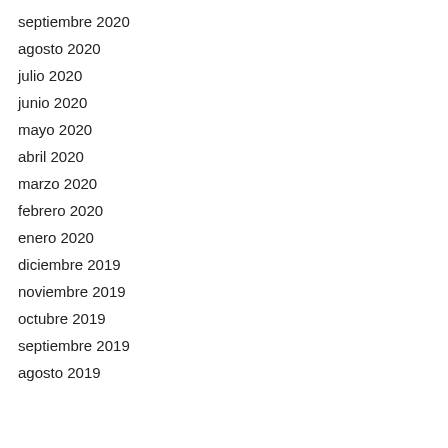septiembre 2020
agosto 2020
julio 2020
junio 2020
mayo 2020
abril 2020
marzo 2020
febrero 2020
enero 2020
diciembre 2019
noviembre 2019
octubre 2019
septiembre 2019
agosto 2019